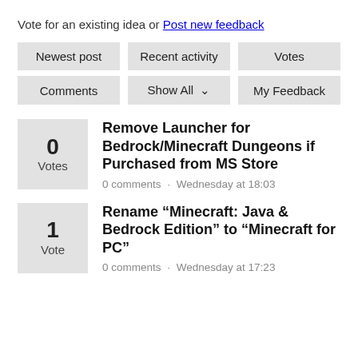Vote for an existing idea or Post new feedback
Newest post
Recent activity
Votes
Comments
Show All
My Feedback
0 Votes — Remove Launcher for Bedrock/Minecraft Dungeons if Purchased from MS Store — 0 comments · Wednesday at 18:03
1 Vote — Rename “Minecraft: Java & Bedrock Edition” to “Minecraft for PC” — 0 comments · Wednesday at 17:23